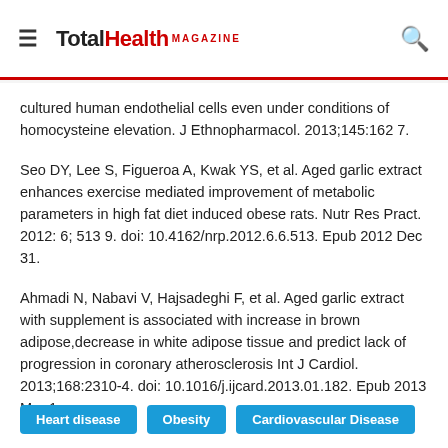TotalHealth MAGAZINE
cultured human endothelial cells even under conditions of homocysteine elevation. J Ethnopharmacol. 2013;145:162 7.
Seo DY, Lee S, Figueroa A, Kwak YS, et al. Aged garlic extract enhances exercise mediated improvement of metabolic parameters in high fat diet induced obese rats. Nutr Res Pract. 2012: 6; 513 9. doi: 10.4162/nrp.2012.6.6.513. Epub 2012 Dec 31.
Ahmadi N, Nabavi V, Hajsadeghi F, et al. Aged garlic extract with supplement is associated with increase in brown adipose,decrease in white adipose tissue and predict lack of progression in coronary atherosclerosis Int J Cardiol. 2013;168:2310-4. doi: 10.1016/j.ijcard.2013.01.182. Epub 2013 Mar 1.
Heart disease
Obesity
Cardiovascular Disease